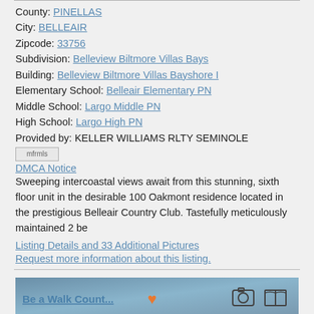County: PINELLAS
City: BELLEAIR
Zipcode: 33756
Subdivision: Belleview Biltmore Villas Bays
Building: Belleview Biltmore Villas Bayshore I
Elementary School: Belleair Elementary PN
Middle School: Largo Middle PN
High School: Largo High PN
Provided by: KELLER WILLIAMS RLTY SEMINOLE
[Figure (logo): mfrmls logo image]
DMCA Notice
Sweeping intercoastal views await from this stunning, sixth floor unit in the desirable 100 Oakmont residence located in the prestigious Belleair Country Club. Tastefully meticulously maintained 2 be
Listing Details and 33 Additional Pictures
Request more information about this listing.
[Figure (photo): Bottom thumbnail image of a property with heart icon, camera icon, and book/map icon overlay]